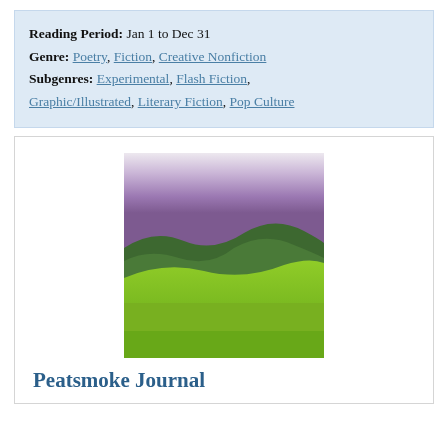Reading Period: Jan 1 to Dec 31
Genre: Poetry, Fiction, Creative Nonfiction
Subgenres: Experimental, Flash Fiction, Graphic/Illustrated, Literary Fiction, Pop Culture
[Figure (illustration): Watercolor-style landscape painting with purple/violet sky transitioning to rolling green hills in shades of lime and emerald green.]
Peatsmoke Journal